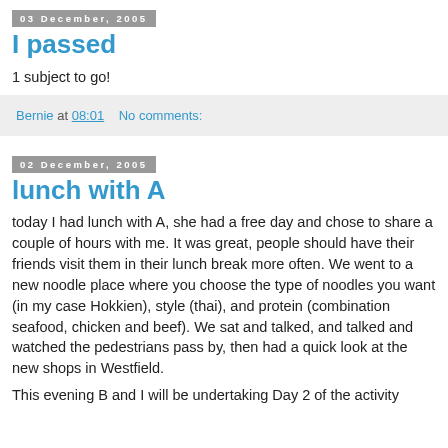03 December, 2005
I passed
1 subject to go!
Bernie at 08:01    No comments:
02 December, 2005
lunch with A
today I had lunch with A, she had a free day and chose to share a couple of hours with me. It was great, people should have their friends visit them in their lunch break more often. We went to a new noodle place where you choose the type of noodles you want (in my case Hokkien), style (thai), and protein (combination seafood, chicken and beef). We sat and talked, and talked and watched the pedestrians pass by, then had a quick look at the new shops in Westfield.
This evening B and I will be undertaking Day 2 of the activity